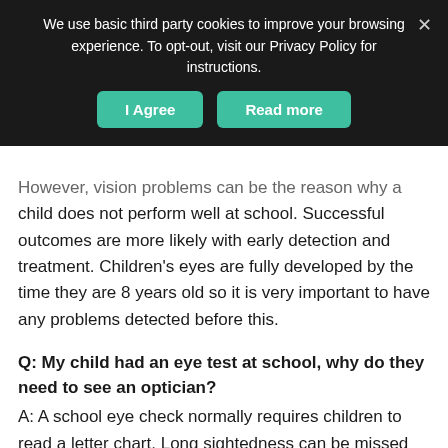[Figure (screenshot): Cookie consent banner overlay with dark background, message about third party cookies, two teal buttons ('I Agree' and 'Read more'), and a close X button.]
However, vision problems can be the reason why a child does not perform well at school. Successful outcomes are more likely with early detection and treatment. Children's eyes are fully developed by the time they are 8 years old so it is very important to have any problems detected before this.
Q: My child had an eye test at school, why do they need to see an optician?
A: A school eye check normally requires children to read a letter chart. Long sightedness can be missed and school checks are not always carried out by an eye care professional. The health of the eye is also not checked. If left undetected, some sight defects cannot be corrected once your child is older than 7.